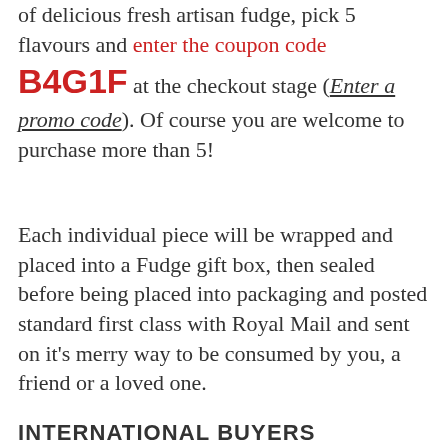of delicious fresh artisan fudge, pick 5 flavours and enter the coupon code B4G1F at the checkout stage (Enter a promo code). Of course you are welcome to purchase more than 5!
Each individual piece will be wrapped and placed into a Fudge gift box, then sealed before being placed into packaging and posted standard first class with Royal Mail and sent on it's merry way to be consumed by you, a friend or a loved one.
INTERNATIONAL BUYERS